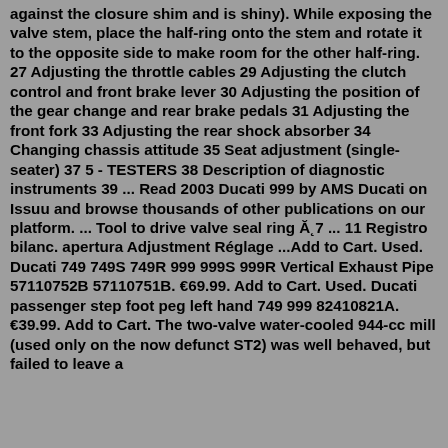against the closure shim and is shiny). While exposing the valve stem, place the half-ring onto the stem and rotate it to the opposite side to make room for the other half-ring. 27 Adjusting the throttle cables 29 Adjusting the clutch control and front brake lever 30 Adjusting the position of the gear change and rear brake pedals 31 Adjusting the front fork 33 Adjusting the rear shock absorber 34 Changing chassis attitude 35 Seat adjustment (single-seater) 37 5 - TESTERS 38 Description of diagnostic instruments 39 ... Read 2003 Ducati 999 by AMS Ducati on Issuu and browse thousands of other publications on our platform. ... Tool to drive valve seal ring Ă˛7 ... 11 Registro bilanc. apertura Adjustment Réglage ...Add to Cart. Used. Ducati 749 749S 749R 999 999S 999R Vertical Exhaust Pipe 57110752B 57110751B. €69.99. Add to Cart. Used. Ducati passenger step foot peg left hand 749 999 82410821A. €39.99. Add to Cart. The two-valve water-cooled 944-cc mill (used only on the now defunct ST2) was well behaved, but failed to leave a